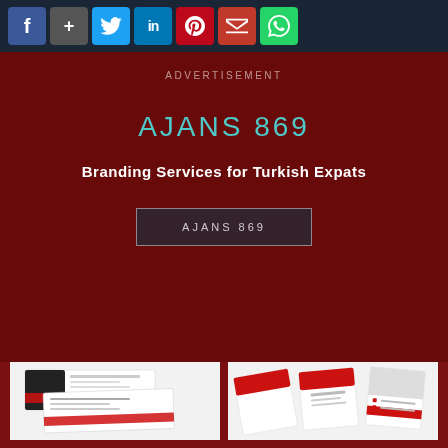[Figure (screenshot): Social media share bar with Facebook, Google+, Twitter, LinkedIn, Pinterest, Email, WhatsApp icons]
ADVERTISEMENT
AJANS 869
Branding Services for Turkish Expats
AJANS 869
[Figure (photo): Business card mockup with black and red design on white background]
[Figure (photo): Brochure/trifold mockup with red and white design]